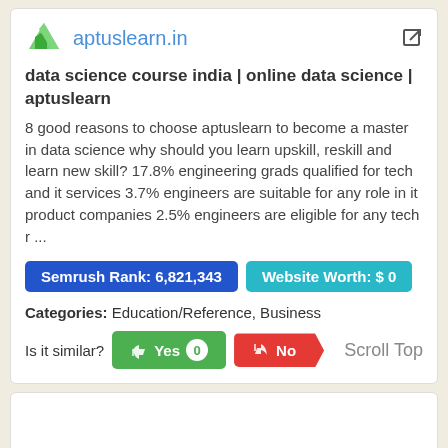[Figure (logo): aptuslearn.in logo with green leaf icon and blue text, plus external link icon]
data science course india | online data science | aptuslearn
8 good reasons to choose aptuslearn to become a master in data science why should you learn upskill, reskill and learn new skill? 17.8% engineering grads qualified for tech and it services 3.7% engineers are suitable for any role in it product companies 2.5% engineers are eligible for any tech r ...
Semrush Rank: 6,821,343
Website Worth: $ 0
Categories: Education/Reference, Business
Is it similar?
Scroll Top
[Figure (logo): sitoliko.org logo text in blue at bottom of second card]